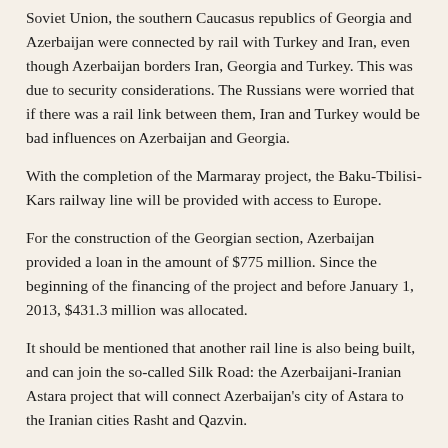Soviet Union, the southern Caucasus republics of Georgia and Azerbaijan were connected by rail with Turkey and Iran, even though Azerbaijan borders Iran, Georgia and Turkey. This was due to security considerations. The Russians were worried that if there was a rail link between them, Iran and Turkey would be bad influences on Azerbaijan and Georgia.
With the completion of the Marmaray project, the Baku-Tbilisi-Kars railway line will be provided with access to Europe.
For the construction of the Georgian section, Azerbaijan provided a loan in the amount of $775 million. Since the beginning of the financing of the project and before January 1, 2013, $431.3 million was allocated.
It should be mentioned that another rail line is also being built, and can join the so-called Silk Road: the Azerbaijani-Iranian Astara project that will connect Azerbaijan's city of Astara to the Iranian cities Rasht and Qazvin.
The framework for this project provides for the construction of segments of the railway on the territory of Iran, and the